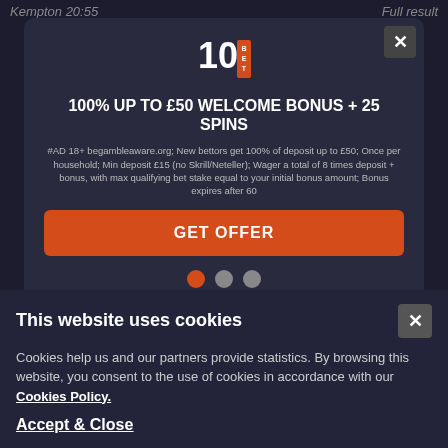Kempton 20:55 Full result
[Figure (screenshot): 10Bet logo - stylized number 10 with BET text]
100% UP TO £50 WELCOME BONUS + 25 SPINS
#AD 18+ begambleaware.org; New bettors get 100% of deposit up to £50; Once per household; Min deposit £15 (no Skrill/Neteller); Wager a total of 8 times deposit + bonus, with max qualifying bet stake equal to your initial bonus amount; Bonus expires after 60
GET OFFER
1st  Dark Side Thunder  11/4  F
2nd  Gidwa  3/1
3rd  Rattling  14/1
This website uses cookies
Cookies help us and our partners provide statistics. By browsing this website, you consent to the use of cookies in accordance with our Cookies Policy.
Accept & Close